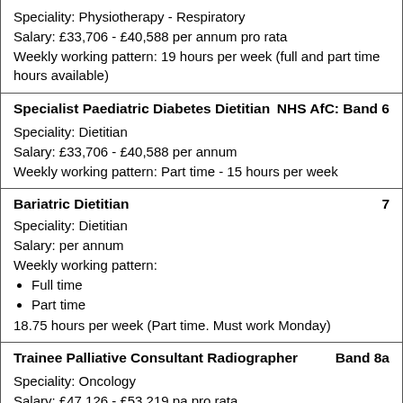Speciality: Physiotherapy - Respiratory
Salary: £33,706 - £40,588 per annum pro rata
Weekly working pattern: 19 hours per week (full and part time hours available)
Specialist Paediatric Diabetes Dietitian
NHS AfC: Band 6
Speciality: Dietitian
Salary: £33,706 - £40,588 per annum
Weekly working pattern: Part time - 15 hours per week
Bariatric Dietitian 7
Speciality: Dietitian
Salary: per annum
Weekly working pattern:
• Full time
• Part time
18.75 hours per week (Part time. Must work Monday)
Trainee Palliative Consultant Radiographer
Band 8a
Speciality: Oncology
Salary: £47,126 - £53,219 pa pro rata